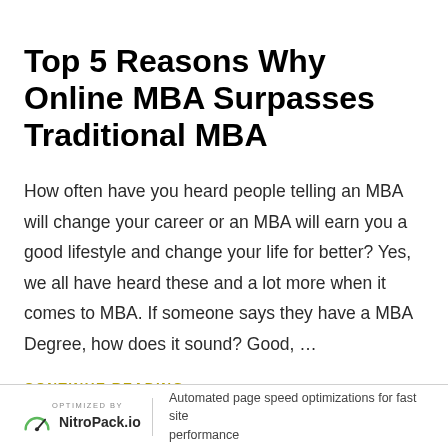Top 5 Reasons Why Online MBA Surpasses Traditional MBA
How often have you heard people telling an MBA will change your career or an MBA will earn you a good lifestyle and change your life for better? Yes, we all have heard these and a lot more when it comes to MBA. If someone says they have a MBA Degree, how does it sound? Good, …
CONTINUE READING
Automated page speed optimizations for fast site performance